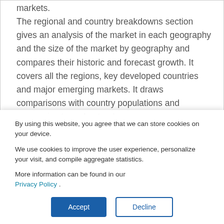markets. The regional and country breakdowns section gives an analysis of the market in each geography and the size of the market by geography and compares their historic and forecast growth. It covers all the regions, key developed countries and major emerging markets. It draws comparisons with country populations and economies to understand
By using this website, you agree that we can store cookies on your device.
We use cookies to improve the user experience, personalize your visit, and compile aggregate statistics.
More information can be found in our Privacy Policy .
Accept
Decline